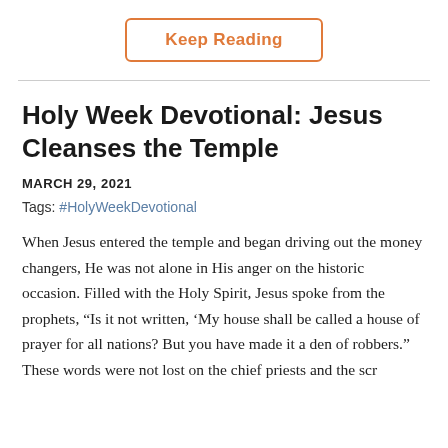Keep Reading
Holy Week Devotional: Jesus Cleanses the Temple
MARCH 29, 2021
Tags: #HolyWeekDevotional
When Jesus entered the temple and began driving out the money changers, He was not alone in His anger on the historic occasion. Filled with the Holy Spirit, Jesus spoke from the prophets, “Is it not written, ‘My house shall be called a house of prayer for all nations? But you have made it a den of robbers.” These words were not lost on the chief priests and the scr…